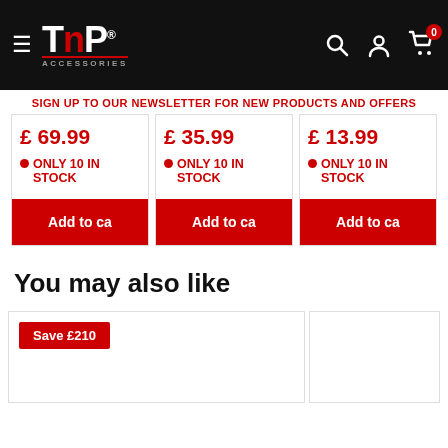[Figure (logo): TnP Accessories logo on black header with hamburger menu, search, account, and cart icons]
SIGN UP TO OUR NEWSLETTER FOR NEW PRODUCTS AND OFFERS
£ 69.99
● ONLY 10 IN STOCK
Add to ca
£ 35.99
● ONLY 10 IN STOCK
Add to ca
£ 13.99
● ONLY 10 IN STOCK
Add to ca
You may also like
Save £210